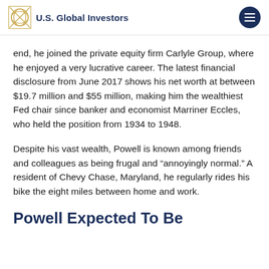U.S. Global Investors
end, he joined the private equity firm Carlyle Group, where he enjoyed a very lucrative career. The latest financial disclosure from June 2017 shows his net worth at between $19.7 million and $55 million, making him the wealthiest Fed chair since banker and economist Marriner Eccles, who held the position from 1934 to 1948.
Despite his vast wealth, Powell is known among friends and colleagues as being frugal and “annoyingly normal.” A resident of Chevy Chase, Maryland, he regularly rides his bike the eight miles between home and work.
Powell Expected To Be